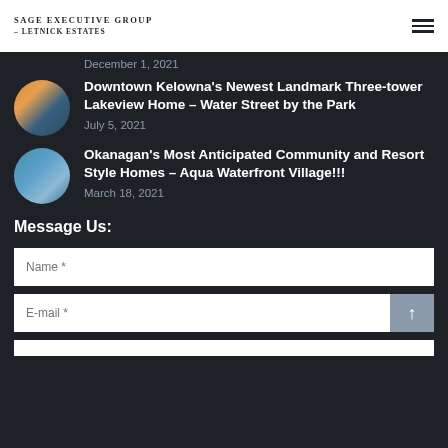Sage Executive Group - Letnick Estates
December 1, 2021
Downtown Kelowna's Newest Landmark Three-tower Lakeview Home – Water Street by the Park
July 5, 2021
Okanagan's Most Anticipated Community and Resort Style Homes – Aqua Waterfront Village!!!
March 18, 2021
Message Us:
Name *
E-mail *